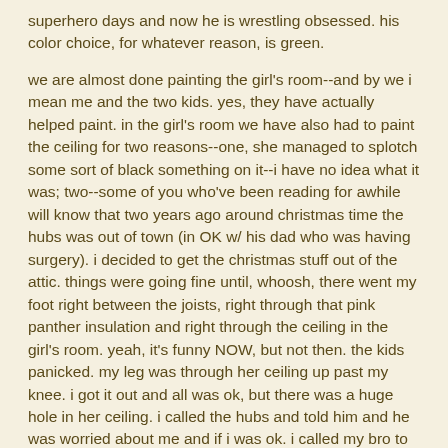superhero days and now he is wrestling obsessed. his color choice, for whatever reason, is green.
we are almost done painting the girl's room--and by we i mean me and the two kids. yes, they have actually helped paint. in the girl's room we have also had to paint the ceiling for two reasons--one, she managed to splotch some sort of black something on it--i have no idea what it was; two--some of you who've been reading for awhile will know that two years ago around christmas time the hubs was out of town (in OK w/ his dad who was having surgery). i decided to get the christmas stuff out of the attic. things were going fine until, whoosh, there went my foot right between the joists, right through that pink panther insulation and right through the ceiling in the girl's room. yeah, it's funny NOW, but not then. the kids panicked. my leg was through her ceiling up past my knee. i got it out and all was ok, but there was a huge hole in her ceiling. i called the hubs and told him and he was worried about me and if i was ok. i called my bro to tell him and doofus laughed his ass off, said he wished he would have been there w/ a video camera and made some comment about christmas vacation.